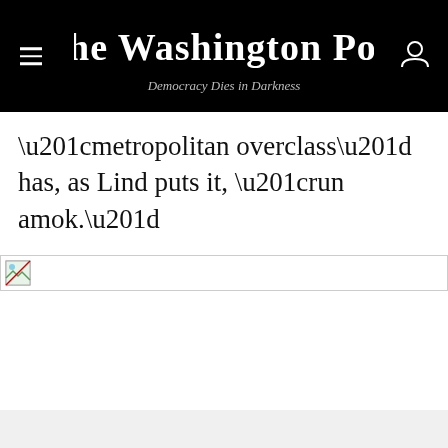The Washington Post
Democracy Dies in Darkness
“metropolitan overclass” has, as Lind puts it, “run amok.”
[Figure (photo): Broken/unloaded image placeholder shown as a small broken image icon inside a bordered rectangle]